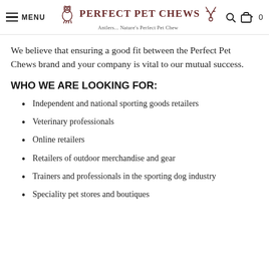MENU | Perfect Pet Chews — Antlers... Nature's Perfect Pet Chew
We believe that ensuring a good fit between the Perfect Pet Chews brand and your company is vital to our mutual success.
WHO WE ARE LOOKING FOR:
Independent and national sporting goods retailers
Veterinary professionals
Online retailers
Retailers of outdoor merchandise and gear
Trainers and professionals in the sporting dog industry
Speciality pet stores and boutiques